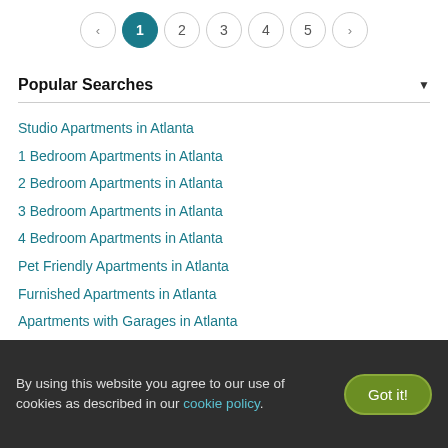[Figure (other): Pagination bar with previous arrow, page buttons 1 (active), 2, 3, 4, 5, and next arrow]
Popular Searches
Studio Apartments in Atlanta
1 Bedroom Apartments in Atlanta
2 Bedroom Apartments in Atlanta
3 Bedroom Apartments in Atlanta
4 Bedroom Apartments in Atlanta
Pet Friendly Apartments in Atlanta
Furnished Apartments in Atlanta
Apartments with Garages in Atlanta
Short Term Rentals in Atlanta
Luxury Apartments in Atlanta
By using this website you agree to our use of cookies as described in our cookie policy.